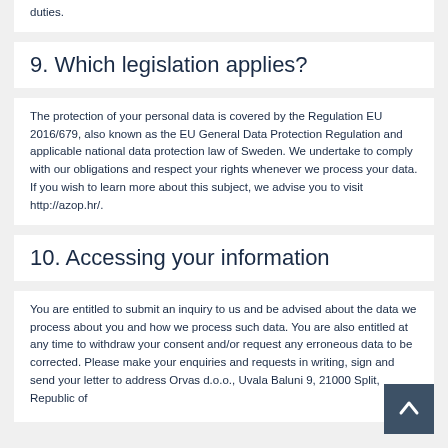duties.
9. Which legislation applies?
The protection of your personal data is covered by the Regulation EU 2016/679, also known as the EU General Data Protection Regulation and applicable national data protection law of Sweden. We undertake to comply with our obligations and respect your rights whenever we process your data. If you wish to learn more about this subject, we advise you to visit http://azop.hr/.
10. Accessing your information
You are entitled to submit an inquiry to us and be advised about the data we process about you and how we process such data. You are also entitled at any time to withdraw your consent and/or request any erroneous data to be corrected. Please make your enquiries and requests in writing, sign and send your letter to address Orvas d.o.o., Uvala Baluni 9, 21000 Split, Republic of